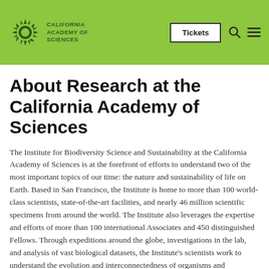California Academy of Sciences | Tickets
About Research at the California Academy of Sciences
The Institute for Biodiversity Science and Sustainability at the California Academy of Sciences is at the forefront of efforts to understand two of the most important topics of our time: the nature and sustainability of life on Earth. Based in San Francisco, the Institute is home to more than 100 world-class scientists, state-of-the-art facilities, and nearly 46 million scientific specimens from around the world. The Institute also leverages the expertise and efforts of more than 100 international Associates and 450 distinguished Fellows. Through expeditions around the globe, investigations in the lab, and analysis of vast biological datasets, the Institute's scientists work to understand the evolution and interconnectedness of organisms and ecosystems, the threats they face around the world, and the most effective strategies for sustaining them into the future. Through innovative partnerships and public